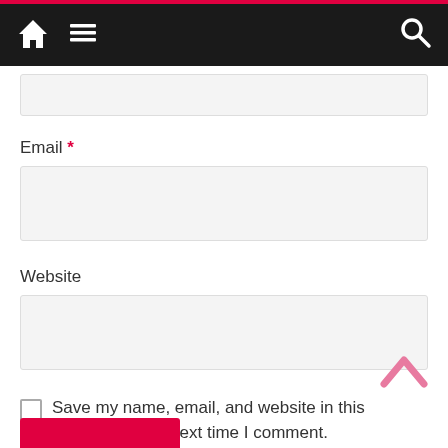Navigation bar with home, menu, and search icons
Email *
Website
Save my name, email, and website in this browser for the next time I comment.